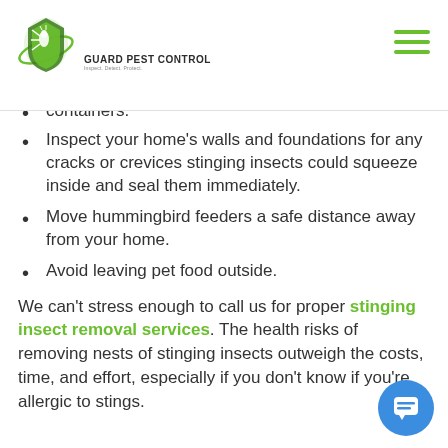Guard Pest Control — Inspect. Detect. Protect.
containers.
Inspect your home's walls and foundations for any cracks or crevices stinging insects could squeeze inside and seal them immediately.
Move hummingbird feeders a safe distance away from your home.
Avoid leaving pet food outside.
We can't stress enough to call us for proper stinging insect removal services. The health risks of removing nests of stinging insects outweigh the costs, time, and effort, especially if you don't know if you're allergic to stings.